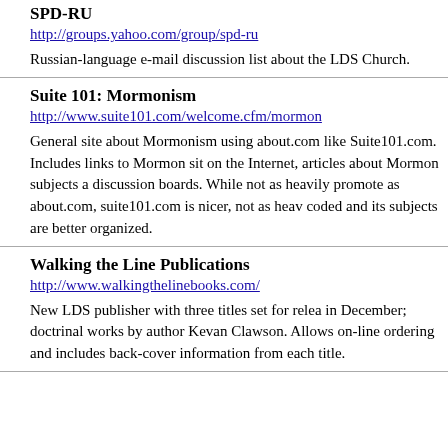SPD-RU
http://groups.yahoo.com/group/spd-ru
Russian-language e-mail discussion list about the LDS Church.
Suite 101: Mormonism
http://www.suite101.com/welcome.cfm/mormonism
General site about Mormonism using about.com like Suite101.com. Includes links to Mormon sites on the Internet, articles about Mormon subjects and discussion boards. While not as heavily promoted as about.com, suite101.com is nicer, not as heavily coded and its subjects are better organized.
Walking the Line Publications
http://www.walkingthelinebooks.com/
New LDS publisher with three titles set for release in December; doctrinal works by author Kevan Clawson. Allows on-line ordering and includes back-cover information from each title.